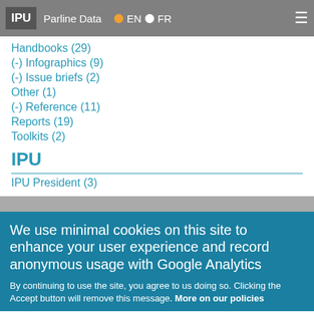IPU | Parline Data | EN FR
Handbooks (29)
(-) Infographics (9)
(-) Issue briefs (2)
Other (1)
(-) Reference (11)
Reports (19)
Toolkits (2)
IPU
IPU President (3)
We use minimal cookies on this site to enhance your user experience and record anonymous usage with Google Analytics
By continuing to use the site, you agree to us doing so. Clicking the Accept button will remove this message. More on our policies